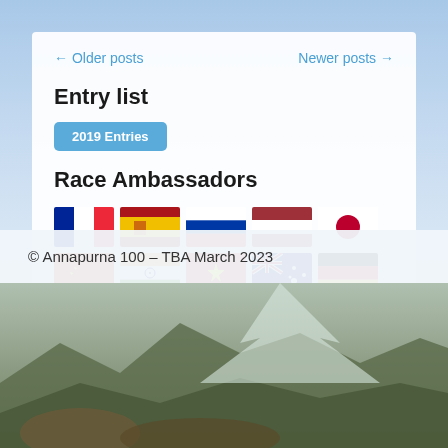← Older posts    Newer posts →
Entry list
2019 Entries
Race Ambassadors
[Figure (illustration): Flag icons for various countries: France, Spain, Russia, Latvia, Japan, China, India, Vietnam, Australia, Germany, Greece, Philippines]
© Annapurna 100 – TBA March 2023
[Figure (photo): Mountain landscape with rocky terrain and snow-capped peaks, runner visible on trail]